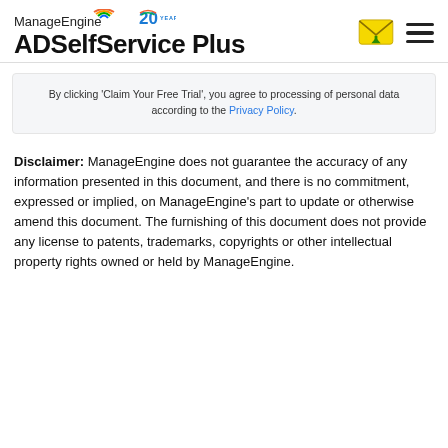ManageEngine 20 YEARS ADSelfService Plus
By clicking 'Claim Your Free Trial', you agree to processing of personal data according to the Privacy Policy.
Disclaimer: ManageEngine does not guarantee the accuracy of any information presented in this document, and there is no commitment, expressed or implied, on ManageEngine's part to update or otherwise amend this document. The furnishing of this document does not provide any license to patents, trademarks, copyrights or other intellectual property rights owned or held by ManageEngine.